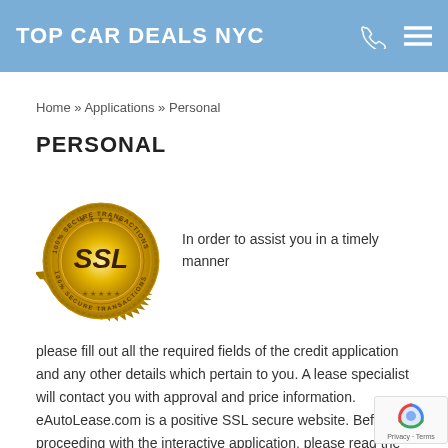TOP CAR DEALS NYC
Home » Applications » Personal
PERSONAL
[Figure (illustration): Gold SSL seal badge with text '100% SECURE TRANSACTIONS' around the border and 'SSL' in the center with stars]
In order to assist you in a timely manner please fill out all the required fields of the credit application and any other details which pertain to you. A lease specialist will contact you with approval and price information. eAutoLease.com is a positive SSL secure website. Before proceeding with the interactive application, please read the Terms & Conditions.